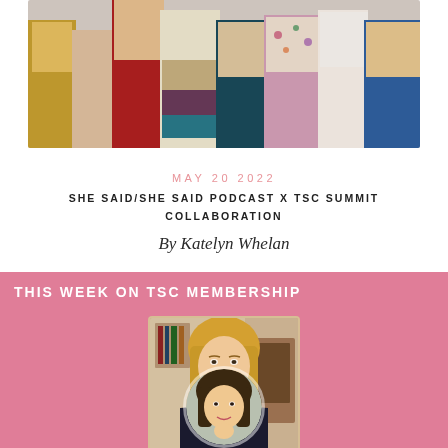[Figure (photo): Group photo showing lower bodies of several people standing together, wearing colorful outfits including yellow, red, multicolor striped dress, teal, floral, and blue pants]
MAY 20 2022
SHE SAID/SHE SAID PODCAST X TSC SUMMIT COLLABORATION
By Katelyn Whelan
[Figure (infographic): Pink banner reading 'THIS WEEK ON TSC MEMBERSHIP' with a portrait photo of a blonde woman in black top and a smaller circular portrait photo below]